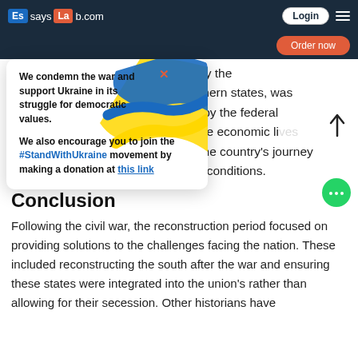EssaysLab.com — Login
[Figure (screenshot): Ukraine solidarity popup with flag ribbon, bold text condemning war and supporting Ukraine, #StandWithUkraine link, and donation link.]
wn by the southern states, was ade by the federal ng the economic lives of the African American beginning the country's journey towards equality in socio-economic conditions.
Conclusion
Following the civil war, the reconstruction period focused on providing solutions to the challenges facing the nation. These included reconstructing the south after the war and ensuring these states were integrated into the union's rather than allowing for their secession. Other historians have